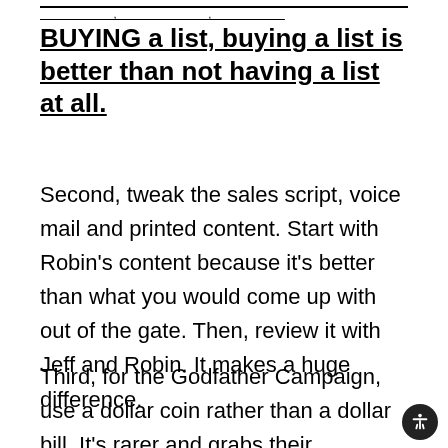BUYING a list, buying a list is better than not having a list at all.
Second, tweak the sales script, voice mail and printed content. Start with Robin’s content because it’s better than what you would come up with out of the gate. Then, review it with Jeff and Robin. It makes a huge difference.
Third, for the Godfather Campaign, use a dollar coin rather than a dollar bill. It’s rarer and grabs their attention. Fourth, use a